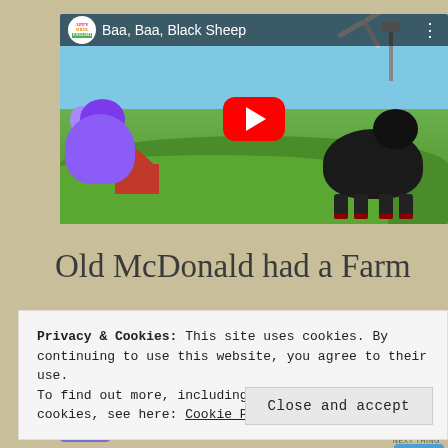[Figure (screenshot): YouTube video thumbnail for 'Baa, Baa, Black Sheep' by Appy Shine English, showing a black sheep and purple elephant on a farm background with barns and windmill. Red YouTube play button overlay in center.]
Old McDonald had a Farm
Privacy & Cookies: This site uses cookies. By continuing to use this website, you agree to their use.
To find out more, including how to control cookies, see here: Cookie Policy